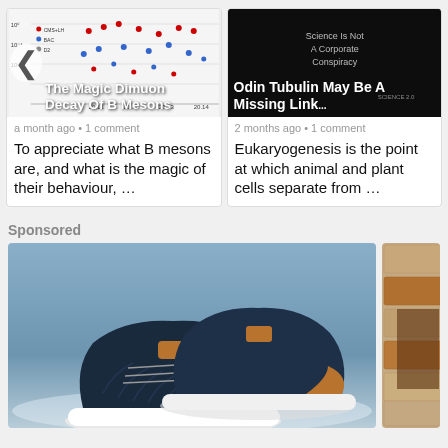[Figure (screenshot): Article card with scatter plot chart image for 'The Magic Dimuon Decay Of B Mesons']
[Figure (screenshot): Article card with dark image for 'Odin Tubulin May Be A Missing Link...' about Eukaryogenesis]
a month ago • 1 comment
To appreciate what B mesons are, and what is the magic of their behaviour, …
2 months ago • 1 comment
Eukaryogenesis is the point at which animal and plant cells separate from …
Sponsored
[Figure (photo): Sponsored image of dark navy blue sneakers with tan leather accents and white sole on blue/grey background]
[Figure (photo): Sponsored image of brick-like textured surface in brown and tan tones]